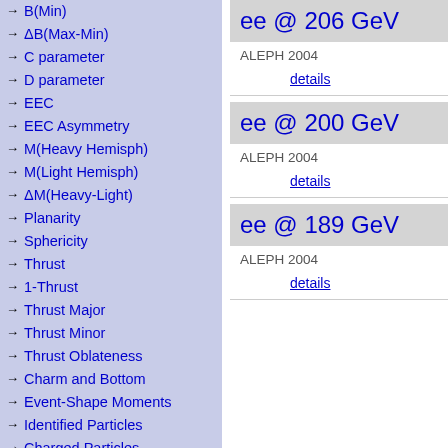→ B(Min)
→ ΔB(Max-Min)
→ C parameter
→ D parameter
→ EEC
→ EEC Asymmetry
→ M(Heavy Hemisph)
→ M(Light Hemisph)
→ ΔM(Heavy-Light)
→ Planarity
→ Sphericity
→ Thrust
→ 1-Thrust
→ Thrust Major
→ Thrust Minor
→ Thrust Oblateness
→ Charm and Bottom
→ Event-Shape Moments
→ Identified Particles
→ Charged Particles
→ Jet rates
→ One-jet fraction
→ Two-jet fraction (highlighted)
→ Three-jet fraction
→ Four-jet fraction
ee @ 206 GeV
ALEPH 2004
details
ee @ 200 GeV
ALEPH 2004
details
ee @ 189 GeV
ALEPH 2004
details